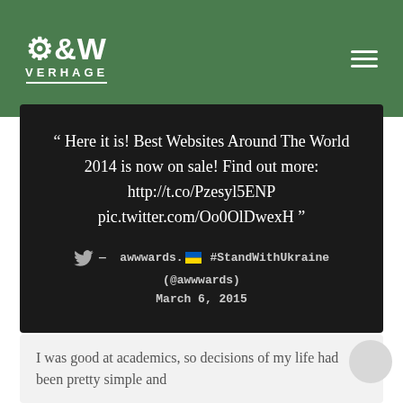[Figure (logo): G&W Verhage logo with gear icon on green header background]
" Here it is! Best Websites Around The World 2014 is now on sale! Find out more: http://t.co/Pzesyl5ENP pic.twitter.com/Oo0OlDwexH "
— awwwards. #StandWithUkraine (@awwwards) March 6, 2015
I was good at academics, so decisions of my life had been pretty simple and